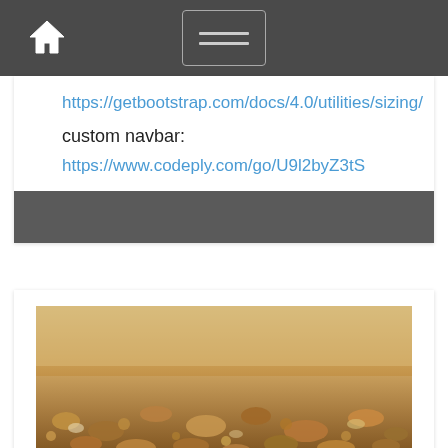[Figure (screenshot): Navigation bar with home icon on left and hamburger menu button (three horizontal lines) in center, dark gray background]
https://getbootstrap.com/docs/4.0/utilities/sizing/
custom navbar:
https://www.codeply.com/go/U9l2byZ3tS
[Figure (photo): Close-up photo of pebbles and small stones on the ground, warm brown/amber tones]
Bootstrap accordion scrolltop animation